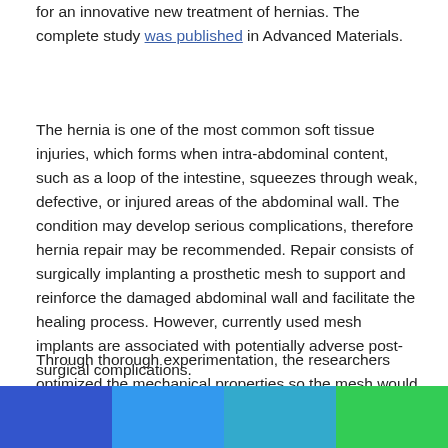for an innovative new treatment of hernias. The complete study was published in Advanced Materials.
The hernia is one of the most common soft tissue injuries, which forms when intra-abdominal content, such as a loop of the intestine, squeezes through weak, defective, or injured areas of the abdominal wall. The condition may develop serious complications, therefore hernia repair may be recommended. Repair consists of surgically implanting a prosthetic mesh to support and reinforce the damaged abdominal wall and facilitate the healing process. However, currently used mesh implants are associated with potentially adverse post-surgical complications.
Through thorough experimentation, the researchers optimized the mechanical properties so the mesh would